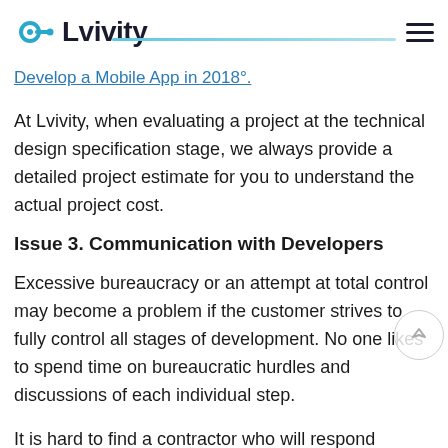Lvivity
Develop a Mobile App in 2018°.
At Lvivity, when evaluating a project at the technical design specification stage, we always provide a detailed project estimate for you to understand the actual project cost.
Issue 3. Communication with Developers
Excessive bureaucracy or an attempt at total control may become a problem if the customer strives to fully control all stages of development. No one likes to spend time on bureaucratic hurdles and discussions of each individual step.
It is hard to find a contractor who will respond